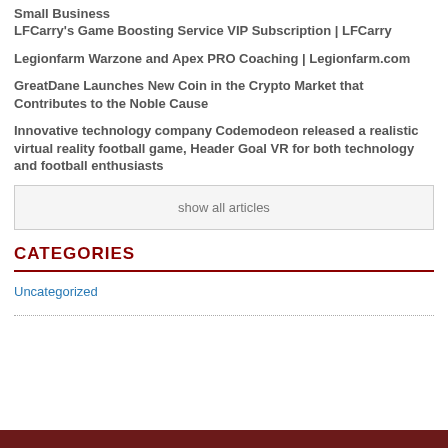Small Business
LFCarry's Game Boosting Service VIP Subscription | LFCarry
Legionfarm Warzone and Apex PRO Coaching | Legionfarm.com
GreatDane Launches New Coin in the Crypto Market that Contributes to the Noble Cause
Innovative technology company Codemodeon released a realistic virtual reality football game, Header Goal VR for both technology and football enthusiasts
show all articles
CATEGORIES
Uncategorized